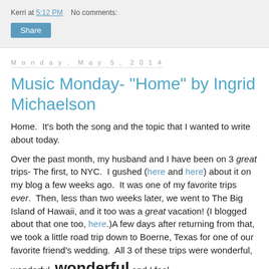Kerri at 5:12 PM   No comments:
Share
Monday, May 5, 2014
Music Monday- "Home" by Ingrid Michaelson
Home.  It's both the song and the topic that I wanted to write about today.
Over the past month, my husband and I have been on 3 great trips- The first, to NYC.  I gushed (here and here) about it on my blog a few weeks ago.  It was one of my favorite trips ever.  Then, less than two weeks later, we went to The Big Island of Hawaii, and it too was a great vacation! (I blogged about that one too, here.)A few days after returning from that, we took a little road trip down to Boerne, Texas for one of our favorite friend's wedding.  All 3 of these trips were wonderful, wonderful, wonderful and I feel